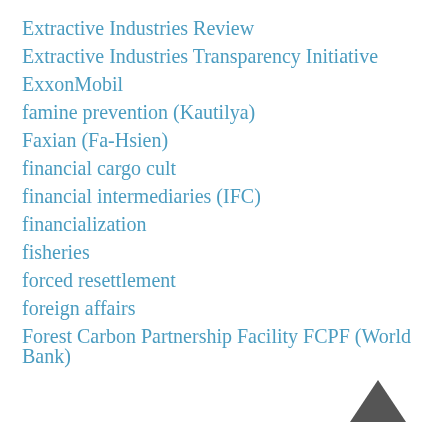Extractive Industries Review
Extractive Industries Transparency Initiative
ExxonMobil
famine prevention (Kautilya)
Faxian (Fa-Hsien)
financial cargo cult
financial intermediaries (IFC)
financialization
fisheries
forced resettlement
foreign affairs
Forest Carbon Partnership Facility FCPF (World Bank)